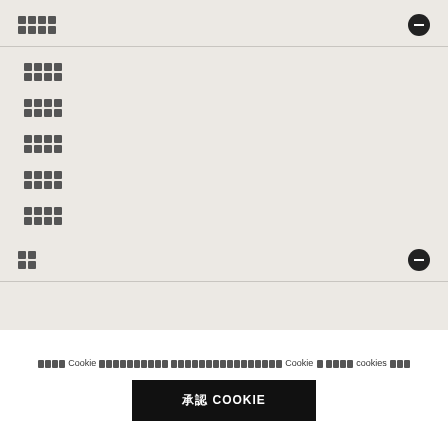[redacted/obfuscated text] — collapse button
[redacted/obfuscated list item 1]
[redacted/obfuscated list item 2]
[redacted/obfuscated list item 3]
[redacted/obfuscated list item 4]
[redacted/obfuscated list item 5]
[redacted/obfuscated text] — collapse button
[obfuscated] Cookie [obfuscated] [obfuscated] Cookie [obfuscated] cookies [obfuscated]
承認 COOKIE